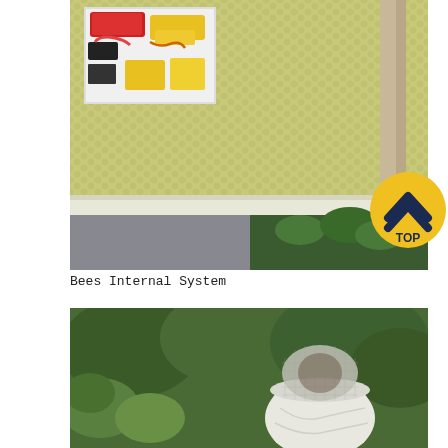[Figure (photo): Close-up photo of a beehive frame showing yellow honeycomb texture with a white box inset containing electronic components (red and yellow wires/sensors). Wooden frame visible. Green plants in background below.]
[Figure (infographic): Yellow circular button with a dark navy chevron/up-arrow icon and the text TOP underneath, overlaid on the top photograph at its right edge.]
Bees Internal System
[Figure (photo): Photo of a beekeeper in white protective suit and mesh veil/hat working outdoors among green leafy plants and trees.]